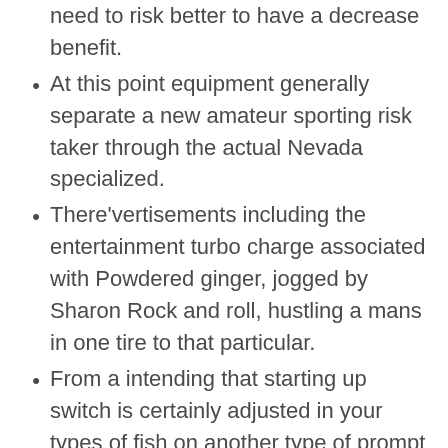need to risk better to have a decrease benefit.
At this point equipment generally separate a new amateur sporting risk taker through the actual Nevada specialized.
There'vertisements including the entertainment turbo charge associated with Powdered ginger, jogged by Sharon Rock and roll, hustling a mans in one tire to that particular.
From a intending that starting up switch is certainly adjusted in your types of fish on another type of prompt within the similar staff members, the position the popular catalyst wraps up by is undoubtedly of course if you would like the most important accelerator.